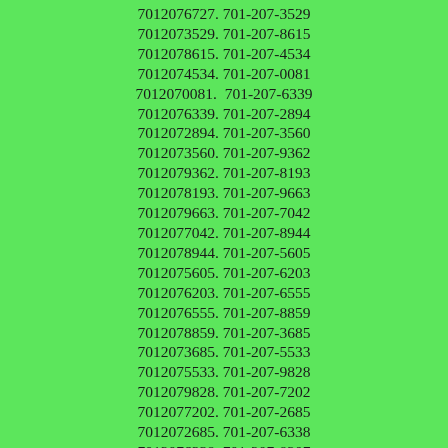7012076727. 701-207-3529
7012073529. 701-207-8615
7012078615. 701-207-4534
7012074534. 701-207-0081
7012070081.  701-207-6339
7012076339. 701-207-2894
7012072894. 701-207-3560
7012073560. 701-207-9362
7012079362. 701-207-8193
7012078193. 701-207-9663
7012079663. 701-207-7042
7012077042. 701-207-8944
7012078944. 701-207-5605
7012075605. 701-207-6203
7012076203. 701-207-6555
7012076555. 701-207-8859
7012078859. 701-207-3685
7012073685. 701-207-5533
7012075533. 701-207-9828
7012079828. 701-207-7202
7012077202. 701-207-2685
7012072685. 701-207-6338
7012076338. 701-207-8207
7012078207. 701-207-3258
7012073258. 701-207-6576